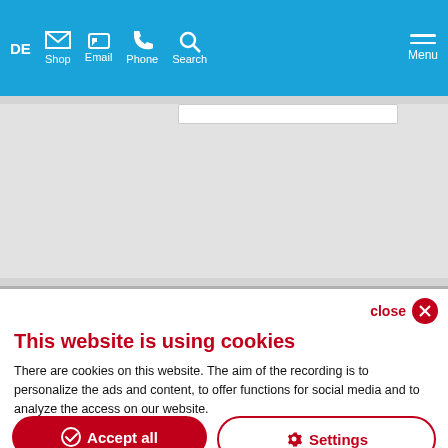DE Shop Email Phone Search Menu
[Figure (screenshot): Gray placeholder image area below navigation bar]
close
This website is using cookies
There are cookies on this website. The aim of the recording is to personalize the ads and content, to offer functions for social media and to analyze the access on our website.
Accept all
Settings
Tool made by ncm.at